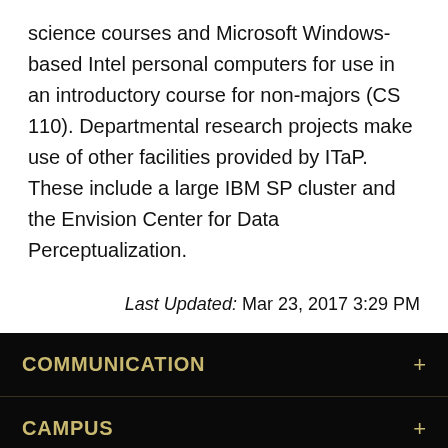science courses and Microsoft Windows-based Intel personal computers for use in an introductory course for non-majors (CS 110). Departmental research projects make use of other facilities provided by ITaP. These include a large IBM SP cluster and the Envision Center for Data Perceptualization.
Last Updated: Mar 23, 2017 3:29 PM
COMMUNICATION
CAMPUS
DEPARTMENT RESOURCES